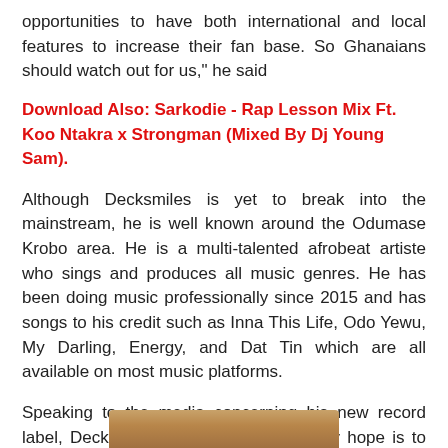opportunities to have both international and local features to increase their fan base. So Ghanaians should watch out for us," he said
Download Also: Sarkodie - Rap Lesson Mix Ft. Koo Ntakra x Strongman (Mixed By Dj Young Sam).
Although Decksmiles is yet to break into the mainstream, he is well known around the Odumase Krobo area. He is a multi-talented afrobeat artiste who sings and produces all music genres. He has been doing music professionally since 2015 and has songs to his credit such as Inna This Life, Odo Yewu, My Darling, Energy, and Dat Tin which are all available on most music platforms.
Speaking to the media concerning his new record label, Decksmiles explained that his only hope is to find a good record label that will pick him up. Though his dream is to join a top record label in Ghanaian, he said that it is also good to start with a new record label that will have all the time for him.
[Figure (photo): Partial view of a photo at the bottom of the page, showing warm brown/golden tones]